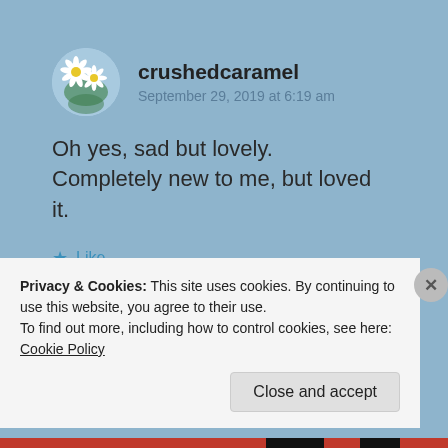crushedcaramel
September 29, 2019 at 6:19 am
Oh yes, sad but lovely. Completely new to me, but loved it.
Like
Reply
Privacy & Cookies: This site uses cookies. By continuing to use this website, you agree to their use.
To find out more, including how to control cookies, see here: Cookie Policy
Close and accept